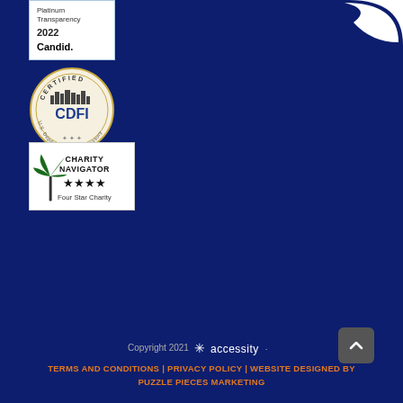[Figure (logo): Candid Platinum Transparency 2022 badge - white rectangle with blue border, text reading Platinum, Transparency, 2022, Candid.]
[Figure (logo): CDFI Certified badge - circular seal from U.S. Department of the Treasury, showing city skyline and text CDFI in center]
[Figure (logo): Charity Navigator Four Star Charity badge - white rectangle with palm tree logo on left, text CHARITY NAVIGATOR with four stars and text Four Star Charity]
[Figure (logo): Partial white D-shaped logo visible in top right corner on dark blue background]
Copyright 2021 accessity. TERMS AND CONDITIONS | PRIVACY POLICY | Website designed by PUZZLE PIECES MARKETING